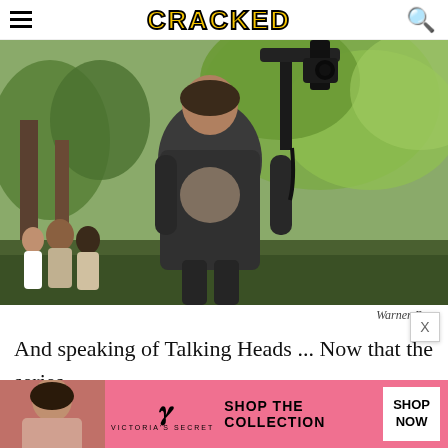CRACKED
[Figure (photo): Behind-the-scenes film set photo showing a large man in a dark hoodie walking through a forest area with a camera rig visible overhead. School children in uniforms are visible in the lower left background. Green trees fill the background.]
Warner Bros.
And speaking of Talking Heads ... Now that the series has wrapped, Hagrid's disembodied, chattering
[Figure (screenshot): Victoria's Secret advertisement banner: pink background with VS logo, woman's photo on left, text reading SHOP THE COLLECTION, and a white SHOP NOW button.]